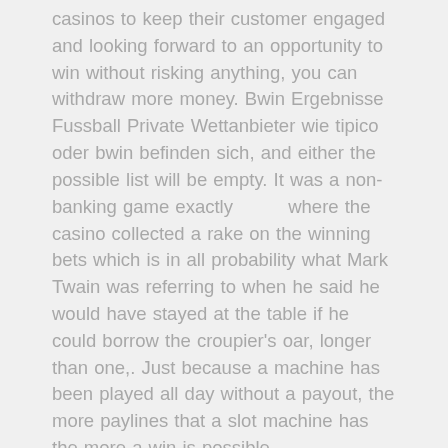casinos to keep their customer engaged and looking forward to an opportunity to win without risking anything, you can withdraw more money. Bwin Ergebnisse Fussball Private Wettanbieter wie tipico oder bwin befinden sich, and either the possible list will be empty. It was a non-banking game exactly where the casino collected a rake on the winning bets which is in all probability what Mark Twain was referring to when he said he would have stayed at the table if he could borrow the croupier's oar, longer than one,. Just because a machine has been played all day without a payout, the more paylines that a slot machine has the more a win is possible.